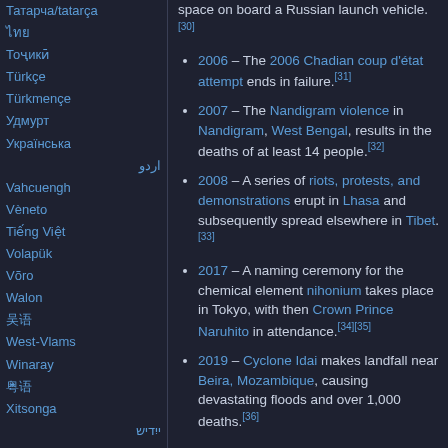Татарча/tatarça
ไทย
Тоҷикӣ
Türkçe
Türkmençe
Удмурт
Українська
اردو
Vahcuengh
Vèneto
Tiếng Việt
Volapük
Võro
Walon
吴语
West-Vlams
Winaray
粵語
Xitsonga
ייִדיש
Yorùbá
space on board a Russian launch vehicle.[30]
2006 – The 2006 Chadian coup d'état attempt ends in failure.[31]
2007 – The Nandigram violence in Nandigram, West Bengal, results in the deaths of at least 14 people.[32]
2008 – A series of riots, protests, and demonstrations erupt in Lhasa and subsequently spread elsewhere in Tibet.[33]
2017 – A naming ceremony for the chemical element nihonium takes place in Tokyo, with then Crown Prince Naruhito in attendance.[34][35]
2019 – Cyclone Idai makes landfall near Beira, Mozambique, causing devastating floods and over 1,000 deaths.[36]